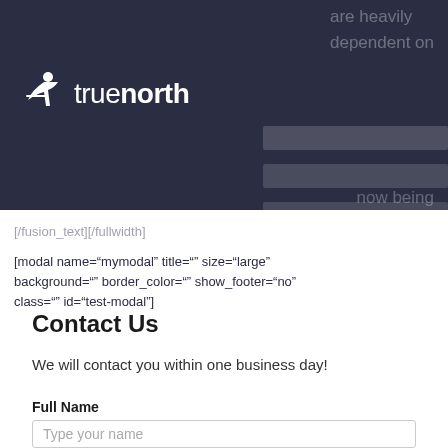[Figure (logo): TrueNorth logo — white archer figure followed by 'true' in light weight and 'north' in bold, all white, on dark navy background]
are heavily dependent on
now being
[/fusion_text][/fullwidth]
[modal name="mymodal" title="" size="large" background="" border_color="" show_footer="no" class="" id="test-modal"]
Contact Us
We will contact you within one business day!
Full Name
Type your name